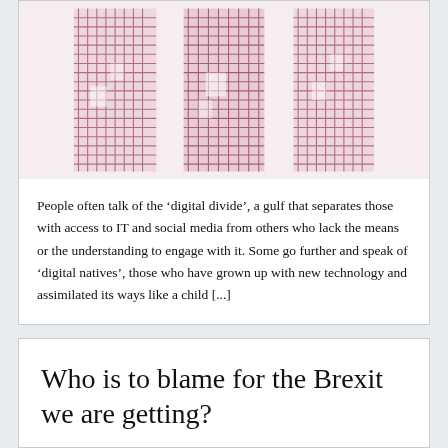[Figure (illustration): Decorative image showing pink/mauve woven textile or architectural columns with intricate lattice patterns, rendered in pink and dark tones.]
People often talk of the ‘digital divide’, a gulf that separates those with access to IT and social media from others who lack the means or the understanding to engage with it. Some go further and speak of ‘digital natives’, those who have grown up with new technology and assimilated its ways like a child [...]
Who is to blame for the Brexit we are getting?